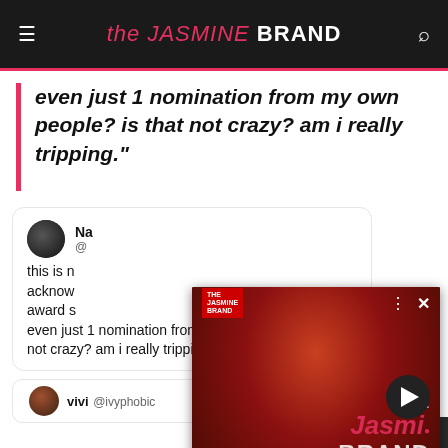the JASMINE BRAND
even just 1 nomination from my own people? is that not crazy? am i really tripping."
[Figure (screenshot): Video thumbnail showing a man in a red shirt with The Jasmine Brand logo overlay and caption: Boosie Performs His Tracks 'Set It Off' & 'F*ck The Police' While Being Surrounded By C...]
this is n... acknowled... award s... even just 1 nomination from my own people? is that not crazy? am i really tripping
vivi @ivyphobic